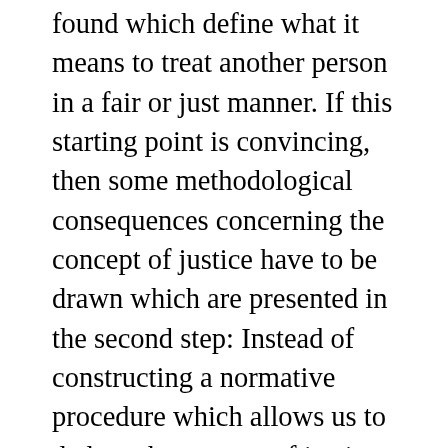found which define what it means to treat another person in a fair or just manner. If this starting point is convincing, then some methodological consequences concerning the concept of justice have to be drawn which are presented in the second step: Instead of constructing a normative procedure which allows us to deduce the content of justice, we have to start by reconstructing the social practices which inform us about the respects of justice. The result will be, as indicated in a third step, a pluralisation of our concept of justice which includes as many relevant principles of justice as there are commonly accepted and recognised forms of social